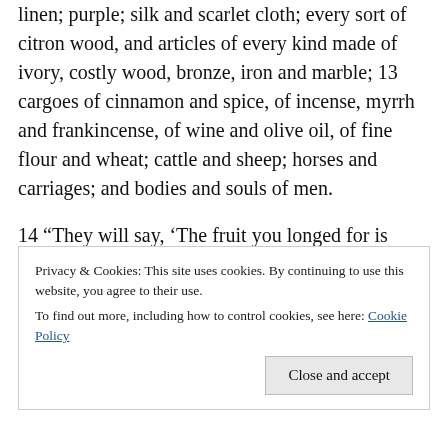linen; purple; silk and scarlet cloth; every sort of citron wood, and articles of every kind made of ivory, costly wood, bronze, iron and marble; 13 cargoes of cinnamon and spice, of incense, myrrh and frankincense, of wine and olive oil, of fine flour and wheat; cattle and sheep; horses and carriages; and bodies and souls of men.
14 “They will say, ‘The fruit you longed for is gone from you. All your riches and splendor have vanished, never to be recovered.’ 15 The merchants who sold these things and gained their wealth from her will stand far off, terrified at her torment. They will weep and mourn 16 and cry out:
Privacy & Cookies: This site uses cookies. By continuing to use this website, you agree to their use.
To find out more, including how to control cookies, see here: Cookie Policy